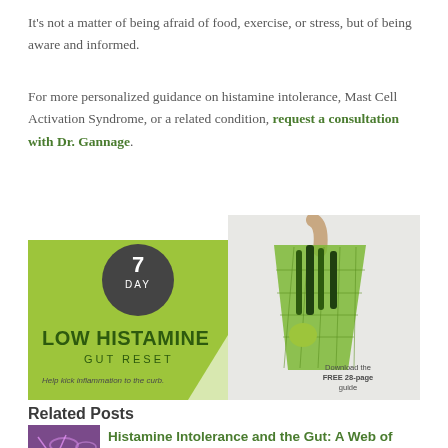It's not a matter of being afraid of food, exercise, or stress, but of being aware and informed.
For more personalized guidance on histamine intolerance, Mast Cell Activation Syndrome, or a related condition, request a consultation with Dr. Gannage.
[Figure (infographic): 7 Day Low Histamine Gut Reset promotional banner showing a green mesh bag with vegetables and text: Help kick inflammation to the curb. Download the FREE 28-page guide.]
Related Posts
[Figure (photo): Purple/pink close-up microscopy image of biological structures]
Histamine Intolerance and the Gut: A Web of Connections